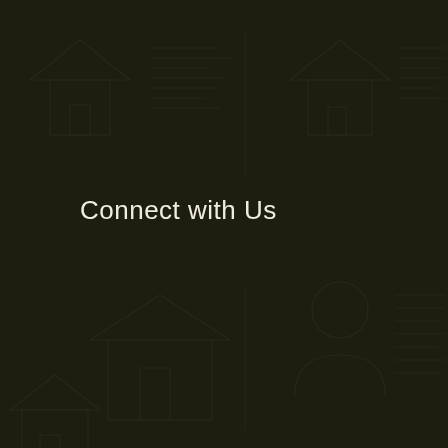[Figure (illustration): Dark olive/near-black background with faint outlines of document/report icons and house/building icons arranged in a repeating pattern across the entire page, very low contrast against the background]
Connect with Us